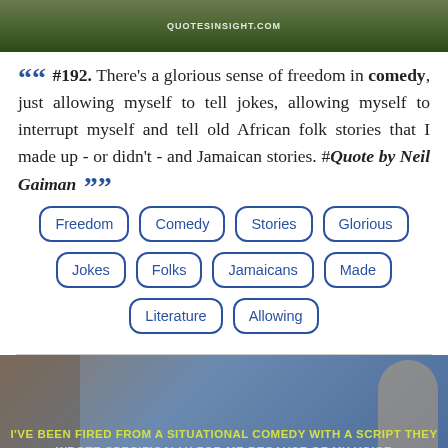[Figure (photo): Outdoor nature/landscape scene with green trees and building structures, watermark 'QUOTESINSIGHT.COM' overlaid]
““ #192. There’s a glorious sense of freedom in comedy, just allowing myself to tell jokes, allowing myself to interrupt myself and tell old African folk stories that I made up - or didn’t - and Jamaican stories. #Quote by Neil Gaiman ””
Freedom
Comedy
Stories
Glorious
Jokes
Folks
Jamaicans
Made
Literature
Allowing
[Figure (photo): Architectural photo with arched building/minaret on right side against blue sky, yellow caption text overlay reading 'I'VE BEEN FIRED FROM A SITUATIONAL COMEDY WITH A SCRIPT THEY WROTE SPECIFICALLY FOR ME BECAUSE OF MY VOICE']